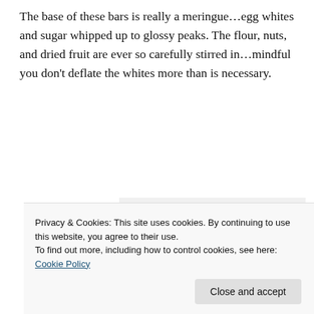The base of these bars is really a meringue…egg whites and sugar whipped up to glossy peaks. The flour, nuts, and dried fruit are ever so carefully stirred in…mindful you don't deflate the whites more than is necessary.
[Figure (screenshot): An advertisement for P2 (a WordPress product) showing a black square icon with a save/floppy disk symbol, the label 'P2', bold text 'Getting your team on the same page is easy. And free.' and three circular avatar photos plus a blue avatar circle below.]
Privacy & Cookies: This site uses cookies. By continuing to use this website, you agree to their use.
To find out more, including how to control cookies, see here: Cookie Policy
Close and accept